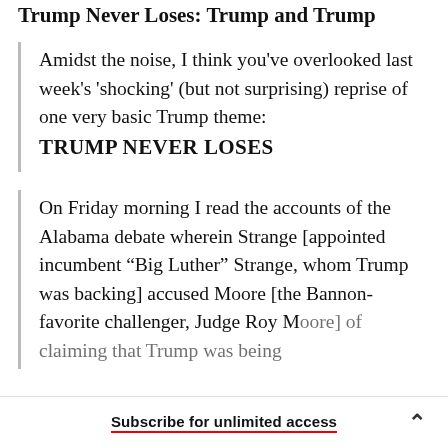Trump Never Loses: Trump and Trump
Amidst the noise, I think you've overlooked last week's 'shocking' (but not surprising) reprise of one very basic Trump theme: TRUMP NEVER LOSES
On Friday morning I read the accounts of the Alabama debate wherein Strange [appointed incumbent “Big Luther” Strange, whom Trump was backing] accused Moore [the Bannon-favorite challenger, Judge Roy Moore] of claiming that Trump was being…
Subscribe for unlimited access